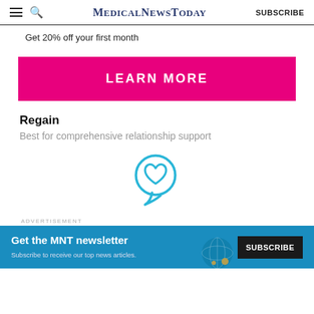MedicalNewsToday  SUBSCRIBE
Get 20% off your first month
[Figure (other): Pink 'LEARN MORE' call-to-action button]
Regain
Best for comprehensive relationship support
[Figure (logo): Regain logo: blue speech bubble with heart inside]
ADVERTISEMENT
[Figure (other): MNT newsletter subscription banner: 'Get the MNT newsletter' with SUBSCRIBE button]